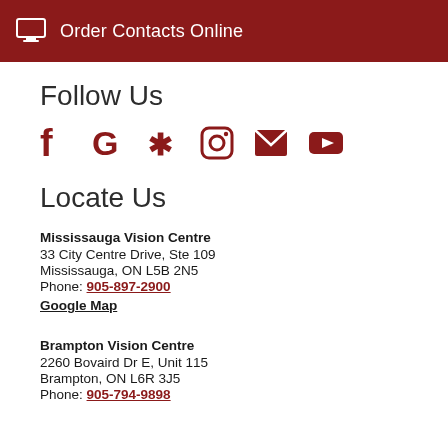[Figure (other): Dark red bar with monitor icon and 'Order Contacts Online' text]
Follow Us
[Figure (other): Social media icons row: Facebook, Google, Yelp, Instagram, Email, YouTube — all in dark red]
Locate Us
Mississauga Vision Centre
33 City Centre Drive, Ste 109
Mississauga, ON L5B 2N5
Phone: 905-897-2900
Google Map
Brampton Vision Centre
2260 Bovaird Dr E, Unit 115
Brampton, ON L6R 3J5
Phone: 905-794-9898